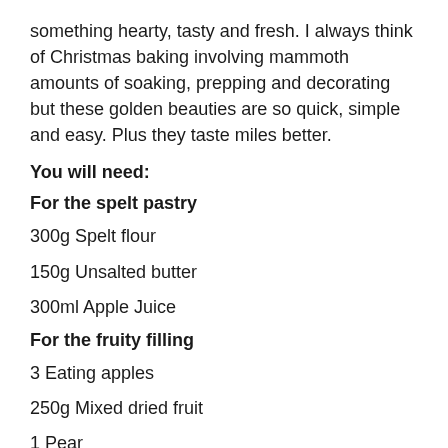something hearty, tasty and fresh. I always think of Christmas baking involving mammoth amounts of soaking, prepping and decorating but these golden beauties are so quick, simple and easy. Plus they taste miles better.
You will need:
For the spelt pastry
300g Spelt flour
150g Unsalted butter
300ml Apple Juice
For the fruity filling
3 Eating apples
250g Mixed dried fruit
1 Pear
1/2 Tsp Ground cinnamon